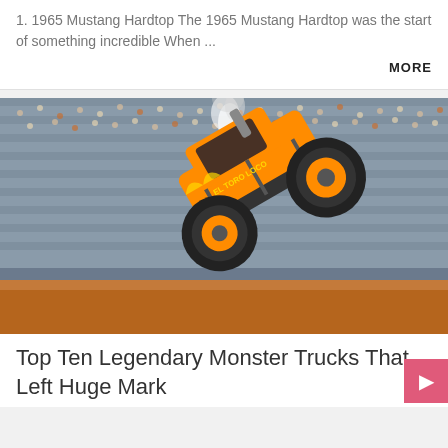1. 1965 Mustang Hardtop The 1965 Mustang Hardtop was the start of something incredible When ...
MORE
[Figure (photo): An orange monster truck named El Toro Loco mid-air during a performance in a packed stadium, with smoke coming from the exhaust.]
Top Ten Legendary Monster Trucks That Left Huge Mark